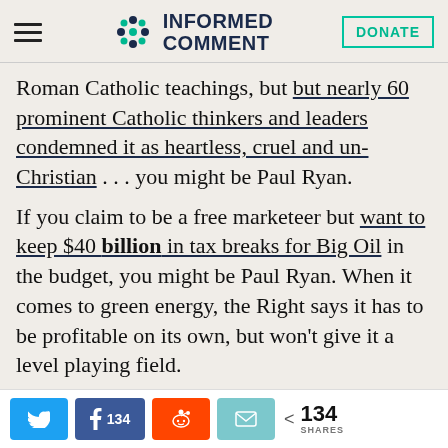INFORMED COMMENT | DONATE
Roman Catholic teachings, but but nearly 60 prominent Catholic thinkers and leaders condemned it as heartless, cruel and un-Christian . . . you might be Paul Ryan.
If you claim to be a free marketeer but want to keep $40 billion in tax breaks for Big Oil in the budget, you might be Paul Ryan. When it comes to green energy, the Right says it has to be profitable on its own, but won't give it a level playing field.
134 SHARES (Twitter, Facebook 134, Reddit, Email)